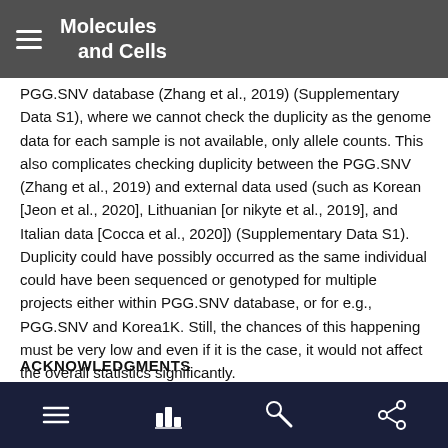Molecules and Cells
PGG.SNV database (Zhang et al., 2019) (Supplementary Data S1), where we cannot check the duplicity as the genome data for each sample is not available, only allele counts. This also complicates checking duplicity between the PGG.SNV (Zhang et al., 2019) and external data used (such as Korean [Jeon et al., 2020], Lithuanian [or nikyte et al., 2019], and Italian data [Cocca et al., 2020]) (Supplementary Data S1). Duplicity could have possibly occurred as the same individual could have been sequenced or genotyped for multiple projects either within PGG.SNV database, or for e.g., PGG.SNV and Korea1K. Still, the chances of this happening must be very low and even if it is the case, it would not affect the overall statistics significantly.
ACKNOWLEDGMENTS
navigation bar with menu, chart, search, and share icons